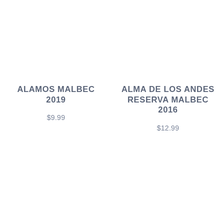ALAMOS MALBEC 2019
$9.99
ALMA DE LOS ANDES RESERVA MALBEC 2016
$12.99